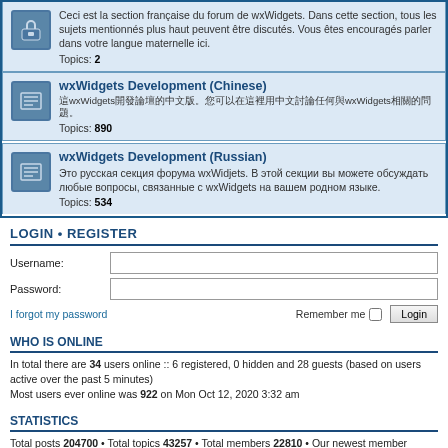Ceci est la section française du forum de wxWidgets. Dans cette section, tous les sujets mentionnés plus haut peuvent être discutés. Vous êtes encouragés parler dans votre langue maternelle ici. Topics: 2
wxWidgets Development (Chinese)
Topics: 890
wxWidgets Development (Russian)
Это русская секция форума wxWidjets. В этой секции вы можете обсуждать любые вопросы, связанные с wxWidgets на вашем родном языке. Topics: 534
LOGIN • REGISTER
Username:
Password:
I forgot my password
Remember me  Login
WHO IS ONLINE
In total there are 34 users online :: 6 registered, 0 hidden and 28 guests (based on users active over the past 5 minutes)
Most users ever online was 922 on Mon Oct 12, 2020 3:32 am
STATISTICS
Total posts 204700 • Total topics 43257 • Total members 22810 • Our newest member seanmayard